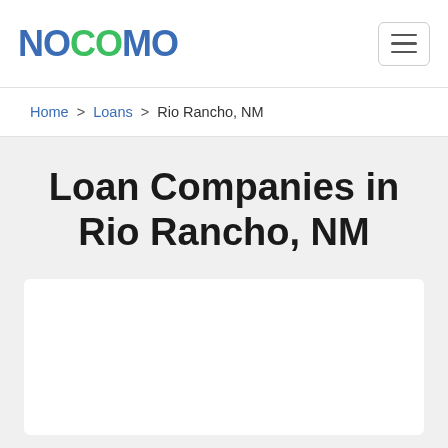NOCOMO
Home > Loans > Rio Rancho, NM
Loan Companies in Rio Rancho, NM